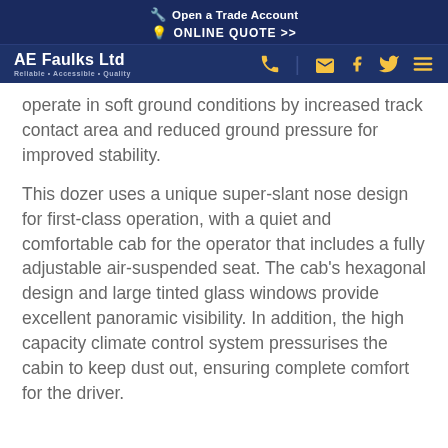Open a Trade Account | ONLINE QUOTE >>
AE Faulks Ltd
operate in soft ground conditions by increased track contact area and reduced ground pressure for improved stability.
This dozer uses a unique super-slant nose design for first-class operation, with a quiet and comfortable cab for the operator that includes a fully adjustable air-suspended seat. The cab’s hexagonal design and large tinted glass windows provide excellent panoramic visibility. In addition, the high capacity climate control system pressurises the cabin to keep dust out, ensuring complete comfort for the driver.